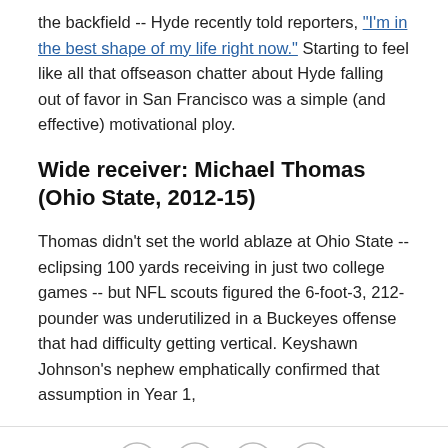the backfield -- Hyde recently told reporters, "I'm in the best shape of my life right now." Starting to feel like all that offseason chatter about Hyde falling out of favor in San Francisco was a simple (and effective) motivational ploy.
Wide receiver: Michael Thomas (Ohio State, 2012-15)
Thomas didn't set the world ablaze at Ohio State -- eclipsing 100 yards receiving in just two college games -- but NFL scouts figured the 6-foot-3, 212-pounder was underutilized in a Buckeyes offense that had difficulty getting vertical. Keyshawn Johnson's nephew emphatically confirmed that assumption in Year 1,
[Figure (infographic): Social sharing icons: Facebook, Twitter, email, and link/chain icon in circular outlines]